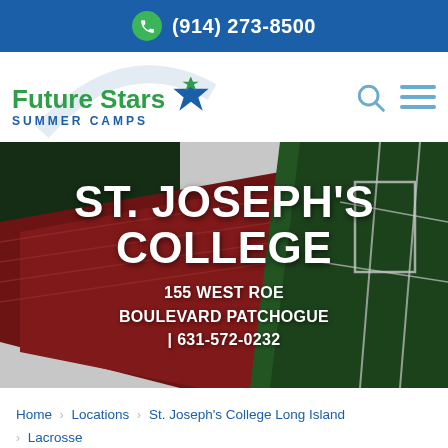(914) 273-8500
[Figure (logo): Future Stars Summer Camps logo with green and blue star icon and arc graphic]
[Figure (photo): Aerial view of a running track (red) next to a green sports field with white line markings]
ST. JOSEPH'S COLLEGE
155 WEST ROE BOULEVARD PATCHOGUE | 631-572-0232
Home > Locations > St. Joseph's College Long Island > Lacrosse